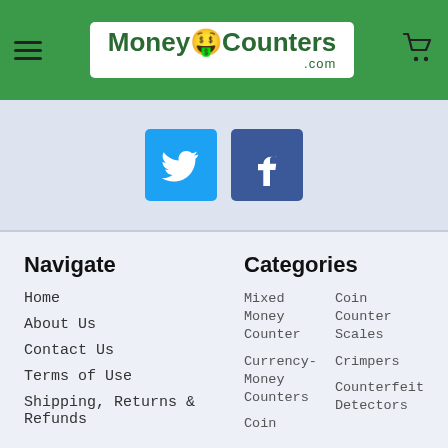MoneyCounters.com
[Figure (logo): MoneyCounters.com logo with emoji and green background header bar]
[Figure (infographic): Twitter and Facebook social media icon buttons in blue squares]
Navigate
Home
About Us
Contact Us
Terms of Use
Shipping, Returns & Refunds
Categories
Mixed Money Counter
Coin Counter Scales
Currency-Money Counters
Crimpers
Coin
Counterfeit Detectors